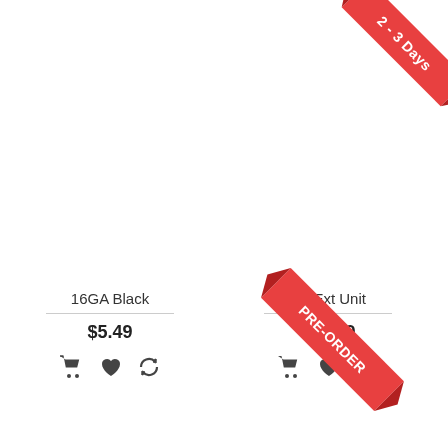[Figure (infographic): Red diagonal ribbon badge in top-right corner of right product card reading '2 - 3 Days']
16GA Black
$5.49
[Figure (infographic): Shopping cart, heart, and refresh/compare icons for left product]
3D Ext Unit
$78.99
[Figure (infographic): Shopping cart, heart, and refresh/compare icons for right product]
[Figure (infographic): Red diagonal ribbon badge in bottom-right corner reading 'PRE-ORDER']